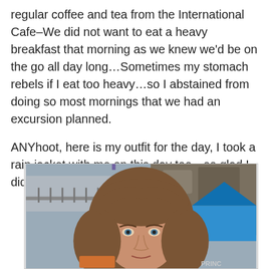regular coffee and tea from the International Cafe–We did not want to eat a heavy breakfast that morning as we knew we'd be on the go all day long…Sometimes my stomach rebels if I eat too heavy…so I abstained from doing so most mornings that we had an excursion planned.
ANYhoot, here is my outfit for the day, I took a rain jacket with me on this day too…so glad I did, I needed it later:
[Figure (photo): A woman with shoulder-length brown hair taking a selfie outdoors. In the background there is a railing/bridge, a blue tent or awning on the right, rocky terrain, and a person visible in the background. A partial 'PRINC' text is visible bottom right (likely Princess cruise line).]